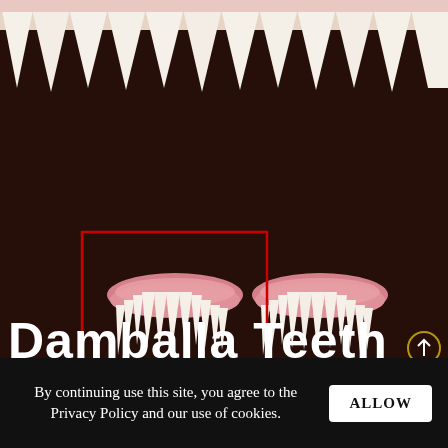[Figure (photo): Dark brown furry background with large sharp white teeth along the top edge, and two sets of vampire/monster denture teeth (with pink gum bases and sharp white fangs) placed side by side in the middle area. The left set is highlighted with a red rectangular outline. Text 'Damballa Teeth' in large white brushstroke font overlaid at the bottom of the image area.]
Damballa Teeth
By continuing use this site, you agree to the Privacy Policy and our use of cookies. ALLOW